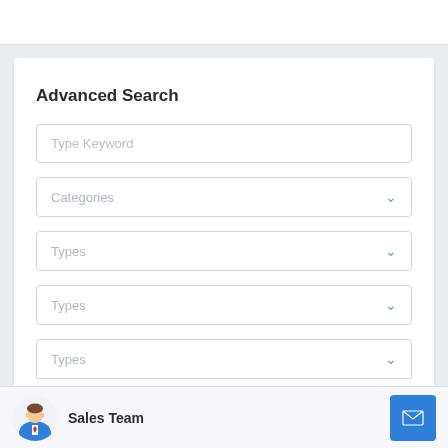Advanced Search
Type Keyword
Categories
Types
Types
Types
Sales Team